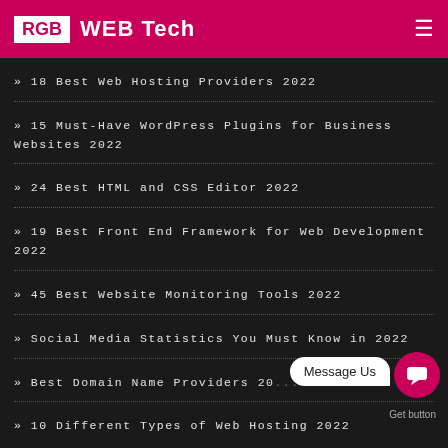RGB WEB Tech
» 18 Best Web Hosting Providers 2022
» 15 Must-Have WordPress Plugins for Business Websites 2022
» 24 Best HTML and CSS Editor 2022
» 19 Best Front End Framework for Web Development 2022
» 45 Best Website Monitoring Tools 2022
» Social Media Statistics You Must Know in 2022
» Best Domain Name Providers 20...
» 10 Different Types of Web Hosting 2022
Message Us
Get button